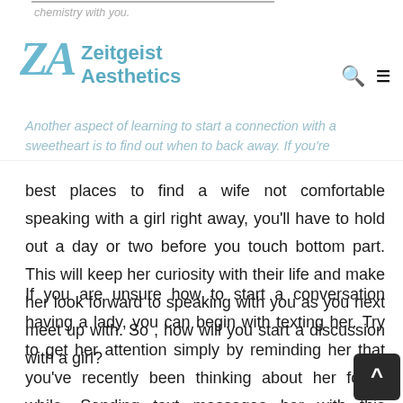Zeitgeist Aesthetics
chemistry with you.
Another aspect of learning to start a connection with a sweetheart is to find out when to back away. If you're
best places to find a wife not comfortable speaking with a girl right away, you'll have to hold out a day or two before you touch bottom part. This will keep her curiosity with their life and make her look forward to speaking with you as you next meet up with. So , how will you start a discussion with a girl?
If you are unsure how to start a conversation having a lady, you can begin with texting her. Try to get her attention simply by reminding her that you've recently been thinking about her for a while. Sending text messages her with this communication will always have a response, says Shawn, a texting expert. Unlike different texts, it can help you receive her focus, even if it is just a little slower at the beginning.